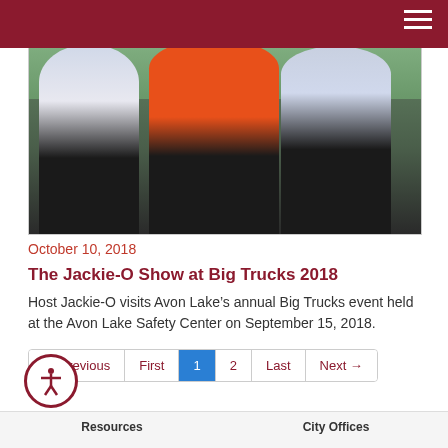[Figure (photo): Photo of Host Jackie-O with two uniformed officers at the Big Trucks 2018 event at Avon Lake Safety Center]
October 10, 2018
The Jackie-O Show at Big Trucks 2018
Host Jackie-O visits Avon Lake’s annual Big Trucks event held at the Avon Lake Safety Center on September 15, 2018.
← Previous
First
1
2
Last
Next →
Resources    City Offices